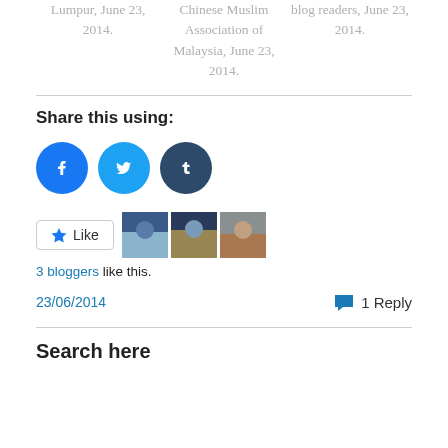Lumpur, June 23, 2014. | Chinese Muslim Association of Malaysia, June 23, 2014. | blog readers, June 23, 2014.
Share this using:
[Figure (other): Social share icons: Facebook (blue circle with f logo), Twitter (light blue circle with bird logo), Tumblr (dark blue circle with t logo)]
[Figure (other): Like button with star icon, followed by three blogger avatar thumbnails]
3 bloggers like this.
23/06/2014
1 Reply
Search here